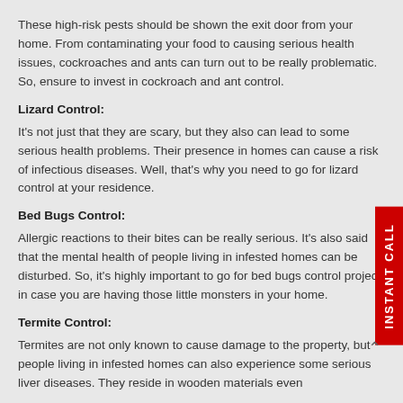These high-risk pests should be shown the exit door from your home. From contaminating your food to causing serious health issues, cockroaches and ants can turn out to be really problematic. So, ensure to invest in cockroach and ant control.
Lizard Control:
It's not just that they are scary, but they also can lead to some serious health problems. Their presence in homes can cause a risk of infectious diseases. Well, that's why you need to go for lizard control at your residence.
Bed Bugs Control:
Allergic reactions to their bites can be really serious. It's also said that the mental health of people living in infested homes can be disturbed. So, it's highly important to go for bed bugs control project in case you are having those little monsters in your home.
Termite Control:
Termites are not only known to cause damage to the property, but people living in infested homes can also experience some serious liver diseases. They reside in wooden materials even